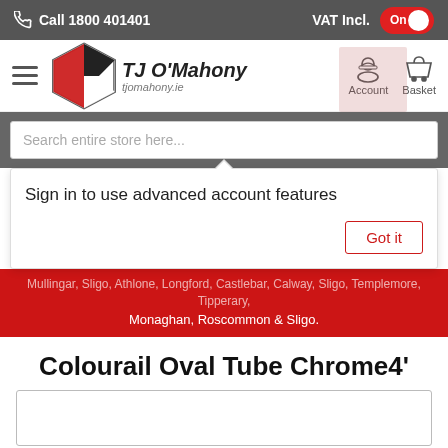Call 1800 401401 | VAT Incl. On
[Figure (logo): TJ O'Mahony logo with hexagon icon and italic text, tjomahony.ie]
Sign in to use advanced account features
Got it
Monaghan, Roscommon & Sligo.
Colourail Oval Tube Chrome4'
[Figure (photo): Product image area, mostly white/empty]